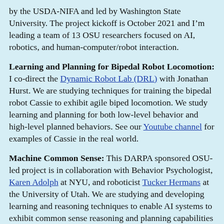by the USDA-NIFA and led by Washington State University. The project kickoff is October 2021 and I'm leading a team of 13 OSU researchers focused on AI, robotics, and human-computer/robot interaction.
Learning and Planning for Bipedal Robot Locomotion: I co-direct the Dynamic Robot Lab (DRL) with Jonathan Hurst. We are studying techniques for training the bipedal robot Cassie to exhibit agile biped locomotion. We study learning and planning for both low-level behavior and high-level planned behaviors. See our Youtube channel for examples of Cassie in the real world.
Machine Common Sense: This DARPA sponsored OSU-led project is in collaboration with Behavior Psychologist, Karen Adolph at NYU, and roboticist Tucker Hermans at the University of Utah. We are studying and developing learning and reasoning techniques to enable AI systems to exhibit common sense reasoning and planning capabilities on par with those of an 18-month infant. A key aspect of our approach is to study how to effectively combine the representation-learning capabilities of deep neural network